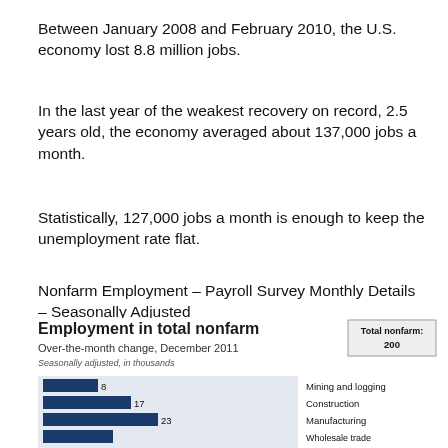Between January 2008 and February 2010, the U.S. economy lost 8.8 million jobs.
In the last year of the weakest recovery on record, 2.5 years old, the economy averaged about 137,000 jobs a month.
Statistically, 127,000 jobs a month is enough to keep the unemployment rate flat.
Nonfarm Employment – Payroll Survey Monthly Details – Seasonally Adjusted
[Figure (bar-chart): Employment in total nonfarm]